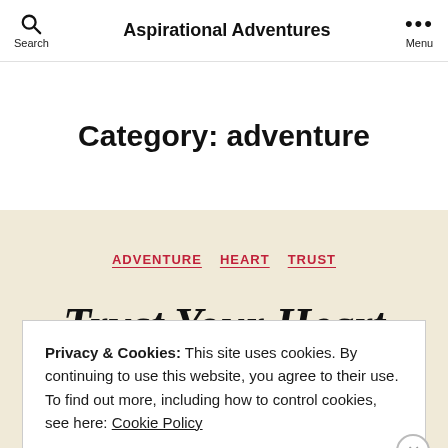Aspirational Adventures
Category: adventure
ADVENTURE  HEART  TRUST
Trust Your Heart
Privacy & Cookies: This site uses cookies. By continuing to use this website, you agree to their use. To find out more, including how to control cookies, see here: Cookie Policy
CLOSE AND ACCEPT